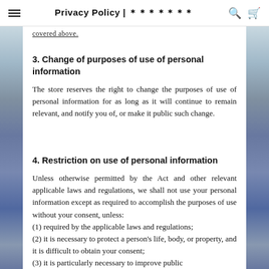Privacy Policy | ＊＊＊＊＊＊＊
covered above.
3. Change of purposes of use of personal information
The store reserves the right to change the purposes of use of personal information for as long as it will continue to remain relevant, and notify you of, or make it public such change.
4. Restriction on use of personal information
Unless otherwise permitted by the Act and other relevant applicable laws and regulations, we shall not use your personal information except as required to accomplish the purposes of use without your consent, unless:
(1) required by the applicable laws and regulations;
(2) it is necessary to protect a person's life, body, or property, and it is difficult to obtain your consent;
(3) it is particularly necessary to improve public